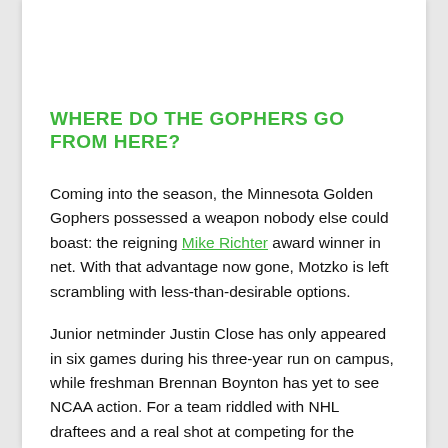WHERE DO THE GOPHERS GO FROM HERE?
Coming into the season, the Minnesota Golden Gophers possessed a weapon nobody else could boast: the reigning Mike Richter award winner in net. With that advantage now gone, Motzko is left scrambling with less-than-desirable options.
Junior netminder Justin Close has only appeared in six games during his three-year run on campus, while freshman Brennan Boynton has yet to see NCAA action. For a team riddled with NHL draftees and a real shot at competing for the NCAA championship, it must be an absolute blow to the gut for the players remaining